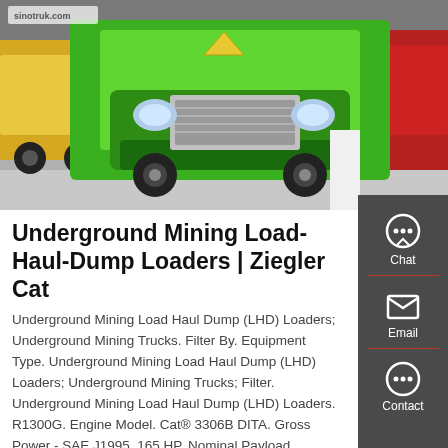[Figure (photo): Photo of a bright green heavy-duty mining/dump truck (SINOTRUK brand) at an exhibition, with yellow truck on the left and red truck on the right]
Underground Mining Load-Haul-Dump Loaders | Ziegler Cat
Underground Mining Load Haul Dump (LHD) Loaders; Underground Mining Trucks. Filter By. Equipment Type. Underground Mining Load Haul Dump (LHD) Loaders; Underground Mining Trucks; Filter. Underground Mining Load Haul Dump (LHD) Loaders. R1300G. Engine Model. Cat® 3306B DITA. Gross Power - SAE J1995. 165 HP. Nominal Payload Capacity. 14991 lb
[Figure (infographic): Sidebar panel with Chat, Email, and Contact icons on dark grey background with red dividers]